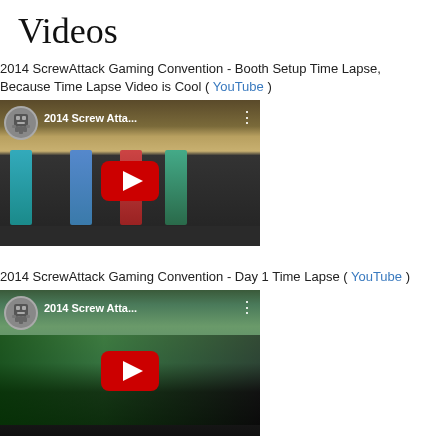Videos
2014 ScrewAttack Gaming Convention - Booth Setup Time Lapse, Because Time Lapse Video is Cool ( YouTube )
[Figure (screenshot): YouTube video thumbnail for '2014 Screw Atta...' showing a gaming convention booth setup with banners and tables. Red YouTube play button overlay in center.]
2014 ScrewAttack Gaming Convention - Day 1 Time Lapse ( YouTube )
[Figure (screenshot): YouTube video thumbnail for '2014 Screw Atta...' showing a gaming convention hall with crowd. Red YouTube play button overlay in center.]